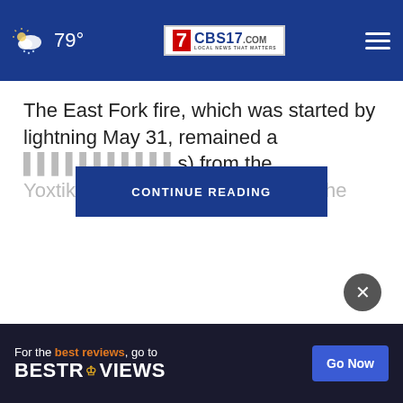79° CBS17.COM LOCAL NEWS THAT MATTERS
The East Fork fire, which was started by lightning May 31, remained a (miles) from the Yoxtik village and from the
CONTINUE READING
[Figure (screenshot): Close button (X) circle icon]
[Figure (infographic): Advertisement banner: For the best reviews, go to BESTREVIEWS with Go Now button]